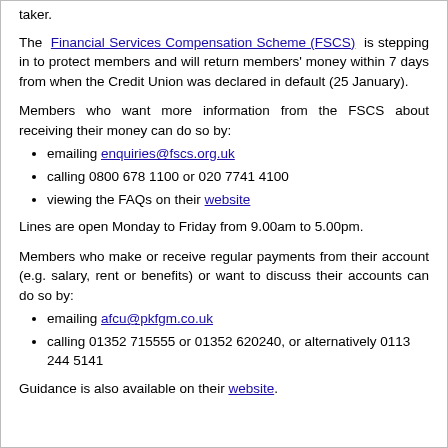taker.
The Financial Services Compensation Scheme (FSCS) is stepping in to protect members and will return members' money within 7 days from when the Credit Union was declared in default (25 January).
Members who want more information from the FSCS about receiving their money can do so by:
emailing enquiries@fscs.org.uk
calling 0800 678 1100 or 020 7741 4100
viewing the FAQs on their website
Lines are open Monday to Friday from 9.00am to 5.00pm.
Members who make or receive regular payments from their account (e.g. salary, rent or benefits) or want to discuss their accounts can do so by:
emailing afcu@pkfgm.co.uk
calling 01352 715555 or 01352 620240, or alternatively 0113 244 5141
Guidance is also available on their website.